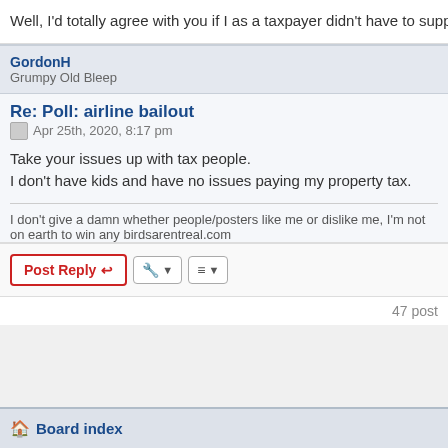Well, I'd totally agree with you if I as a taxpayer didn't have to support the arts lots left over for airport fees. Airports are part of the national infrastructure and
GordonH
Grumpy Old Bleep
Re: Poll: airline bailout
Apr 25th, 2020, 8:17 pm
Take your issues up with tax people.
I don't have kids and have no issues paying my property tax.
I don't give a damn whether people/posters like me or dislike me, I'm not on earth to win any
birdsarentreal.com
Post Reply
47 post
Board index